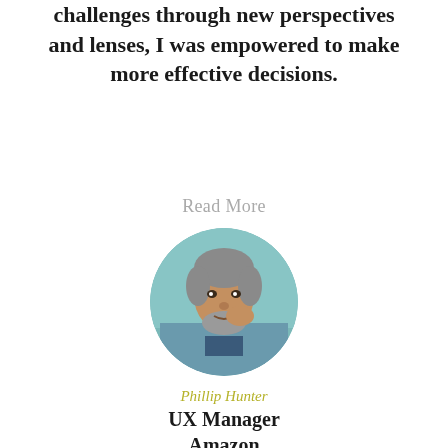challenges through new perspectives and lenses, I was empowered to make more effective decisions.
Read More
[Figure (photo): Circular portrait photo of a middle-aged man with grey hair and beard, resting his hand on his chin, looking at the camera.]
Phillip Hunter
UX Manager Amazon Alexa Skills Technology